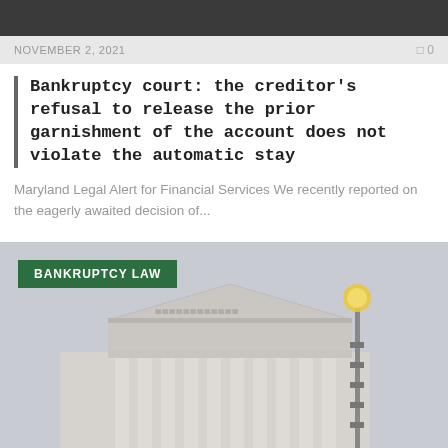NOVEMBER 2, 2021   0
Bankruptcy court: the creditor's refusal to release the prior garnishment of the account does not violate the automatic stay
Maryland Legal Alert for Financial Services We recently reported on the eagerly awaited decision of...
[Figure (photo): Photograph of the United States Supreme Court building facade with columns and a decorative lamp post, under an overcast sky. Green badge overlay reads BANKRUPTCY LAW.]